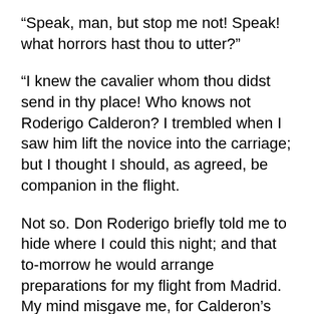“Speak, man, but stop me not! Speak! what horrors hast thou to utter?”
“I knew the cavalier whom thou didst send in thy place! Who knows not Roderigo Calderon? I trembled when I saw him lift the novice into the carriage; but I thought I should, as agreed, be companion in the flight.
Not so. Don Roderigo briefly told me to hide where I could this night; and that to-morrow he would arrange preparations for my flight from Madrid. My mind misgave me, for Calderon’s name is blackened by many curses. I resolved to follow the carriage. I did so; but my breath and speed nearly failed, when, fortunately, the carriage was stopped